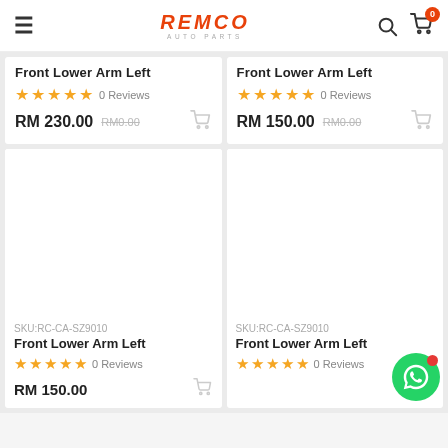REMCO AUTO PARTS — navigation header with logo, search, and cart icons
Front Lower Arm Left
★★★★★ 0 Reviews
RM 230.00 RM0.00
Front Lower Arm Left
★★★★★ 0 Reviews
RM 150.00 RM0.00
[Figure (screenshot): Product image placeholder (blank white area) for Front Lower Arm Left, SKU:RC-CA-SZ9010]
SKU:RC-CA-SZ9010
Front Lower Arm Left
★★★★★ 0 Reviews
RM 150.00
[Figure (screenshot): Product image placeholder (blank white area) for Front Lower Arm Left, SKU:RC-CA-SZ9010]
SKU:RC-CA-SZ9010
Front Lower Arm Left
★★★★★ 0 Reviews